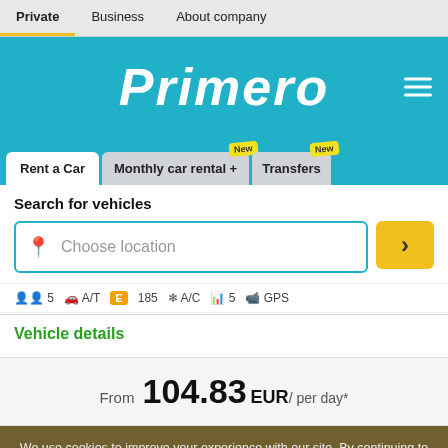Private | Business | About company
[Figure (screenshot): Primero car rental website header with teal background and italic bold white logo]
[Figure (screenshot): Navigation tabs: Rent a Car (active), Monthly car rental + (New badge), Transfers (New badge)]
Search for vehicles
Choose location (input field with search button)
5  A/T  E 185  A/C  5  GPS
Vehicle details
From 104.83 EUR / per day*
We use cookies to improve your experience with our site. By continuing to use our webiste, you agree to our use of cookies as described in the Cookie Policy.
Ok
BRING OUR CLASSIC